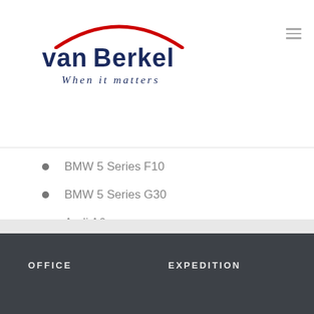[Figure (logo): van Berkel logo with red arc above bold dark navy text 'van Berkel' and italic tagline 'When it matters']
BMW 5 Series F10
BMW 5 Series G30
Audi A6
Audi Q7
OFFICE    EXPEDITION